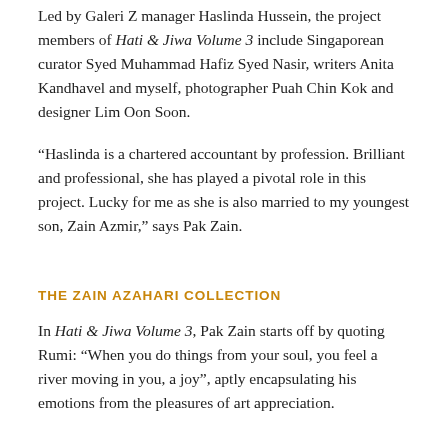Led by Galeri Z manager Haslinda Hussein, the project members of Hati & Jiwa Volume 3 include Singaporean curator Syed Muhammad Hafiz Syed Nasir, writers Anita Kandhavel and myself, photographer Puah Chin Kok and designer Lim Oon Soon.
“Haslinda is a chartered accountant by profession. Brilliant and professional, she has played a pivotal role in this project. Lucky for me as she is also married to my youngest son, Zain Azmir,” says Pak Zain.
THE ZAIN AZAHARI COLLECTION
In Hati & Jiwa Volume 3, Pak Zain starts off by quoting Rumi: “When you do things from your soul, you feel a river moving in you, a joy”, aptly encapsulating his emotions from the pleasures of art appreciation.